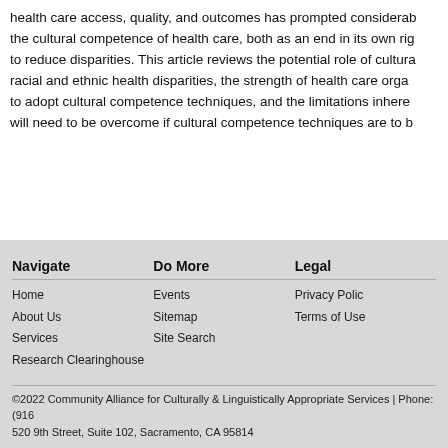health care access, quality, and outcomes has prompted considerably the cultural competence of health care, both as an end in its own right to reduce disparities. This article reviews the potential role of cultural racial and ethnic health disparities, the strength of health care organizations to adopt cultural competence techniques, and the limitations inherent that will need to be overcome if cultural competence techniques are to be
Navigate | Home | About Us | Services | Research Clearinghouse | Do More | Events | Sitemap | Site Search | Legal | Privacy Policy | Terms of Use | ©2022 Community Alliance for Culturally & Linguistically Appropriate Services | Phone: (916) 520 9th Street, Suite 102, Sacramento, CA 95814